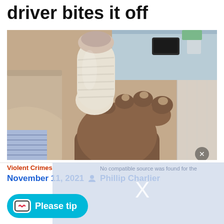driver bites it off
[Figure (photo): A hand with a heavily bandaged thumb held up, photographed in a hospital room setting with a hospital bed rail and counter visible in the background.]
Violent Crimes
November 11, 2021  Phillip Charlier
Please tip